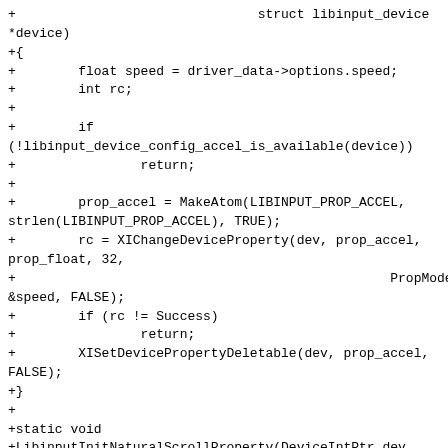+                               struct libinput_device *device)
+{
+        float speed = driver_data->options.speed;
+        int rc;
+
+        if (!libinput_device_config_accel_is_available(device))
+                return;
+
+        prop_accel = MakeAtom(LIBINPUT_PROP_ACCEL,
strlen(LIBINPUT_PROP_ACCEL), TRUE);
+        rc = XIChangeDeviceProperty(dev, prop_accel, prop_float, 32,
+                                                PropModeReplace, 1, &speed, FALSE);
+        if (rc != Success)
+                return;
+        XISetDevicePropertyDeletable(dev, prop_accel, FALSE);
+}
+
+static void
+LibinputInitNaturalScrollProperty(DeviceIntPtr dev,
+                                        struct xf86libinput *driver_data,
+                                        struct libinput_device *device)
+{
+        BOOL natural_scroll = driver_data-
+>options.natural_scrolli...